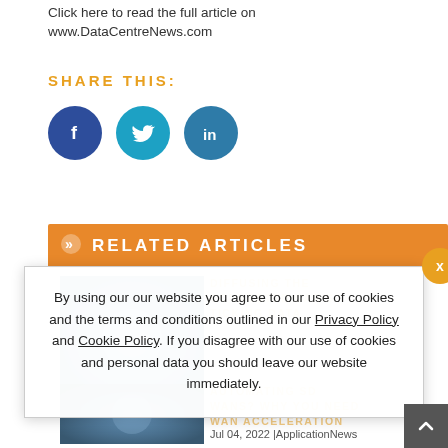Click here to read the full article on www.DataCentreNews.com
SHARE THIS:
[Figure (infographic): Social sharing icons: Facebook (dark blue circle with f), Twitter (light blue circle with bird icon), LinkedIn (medium blue circle with in)]
RELATED ARTICLES
[Figure (photo): Article thumbnail image with blue/grey tones]
DIFFUSING THE CONNECTED CAR'S TICKING DATA
[Figure (photo): Second article thumbnail image]
AUTOMATING SD WANS? WHY YOU NEED WAN ACCELERATION
Jul 04, 2022 |ApplicationNews
By using our our website you agree to our use of cookies and the terms and conditions outlined in our Privacy Policy and Cookie Policy. If you disagree with our use of cookies and personal data you should leave our website immediately.